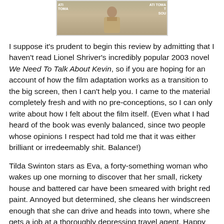[Figure (photo): Partial photo of a person in front of a red background with Rotten Tomatoes branding, cropped at top]
I suppose it's prudent to begin this review by admitting that I haven't read Lionel Shriver's incredibly popular 2003 novel We Need To Talk About Kevin, so if you are hoping for an account of how the film adaptation works as a transition to the big screen, then I can't help you. I came to the material completely fresh and with no pre-conceptions, so I can only write about how I felt about the film itself. (Even what I had heard of the book was evenly balanced, since two people whose opinions I respect had told me that it was either brilliant or irredeemably shit. Balance!)
Tilda Swinton stars as Eva, a forty-something woman who wakes up one morning to discover that her small, rickety house and battered car have been smeared with bright red paint. Annoyed but determined, she cleans her windscreen enough that she can drive and heads into town, where she gets a job at a thoroughly depressing travel agent. Happy with her new employment, meagre though it might be, she walks out on to the street and is promptly punched in the